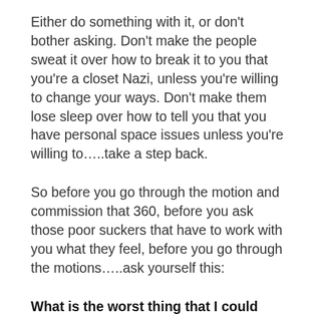Either do something with it, or don't bother asking. Don't make the people sweat it over how to break it to you that you're a closet Nazi, unless you're willing to change your ways. Don't make them lose sleep over how to tell you that you have personal space issues unless you're willing to.....take a step back.
So before you go through the motion and commission that 360, before you ask those poor suckers that have to work with you what they feel, before you go through the motions.....ask yourself this:
What is the worst thing that I could hear that would really upset me? And would I be